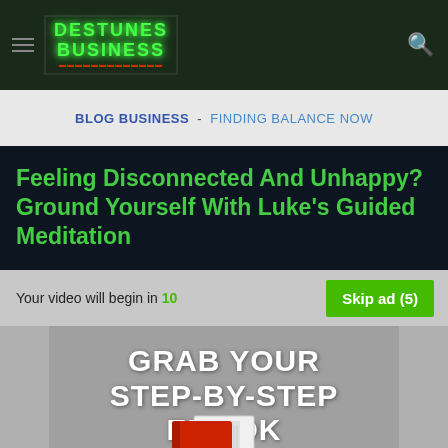DESTUNES BUSINESS
BLOG BUSINESS - FINDING BALANCE NOW
Feeling Disconnected And Unhappy? Ground Yourself With Luke's Guided Meditation
Your video will begin in 10   Skip ad (5)
[Figure (illustration): Advertisement banner showing GRAB YOUR STEP-BY-STEP EBOOK with a book illustration on grey background]